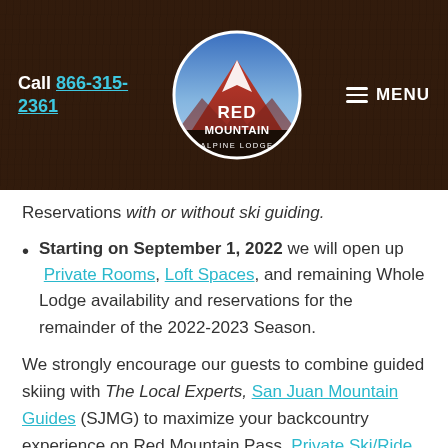Call 866-315-2361 | Red Mountain Alpine Lodge | MENU
Reservations with or without ski guiding.
Starting on September 1, 2022 we will open up Private Rooms, Loft Spaces, and remaining Whole Lodge availability and reservations for the remainder of the 2022-2023 Season.
We strongly encourage our guests to combine guided skiing with The Local Experts, San Juan Mountain Guides (SJMG) to maximize your backcountry experience on Red Mountain Pass. Private Ski/Ride Guiding and Fixed Date Hut Trips are